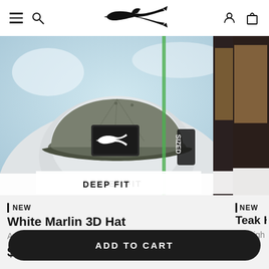Navigation header with hamburger menu, search icon, marlin logo, user icon, and cart icon
[Figure (photo): Close-up photo of a person wearing a gray/olive baseball cap with a marlin logo patch, wearing a white hoodie. Partial second product image visible on the right.]
DEEP FIT
NEW
White Marlin 3D Hat
Army Green/Camo
$
NEW
Teak H
Midnigh
ADD TO CART